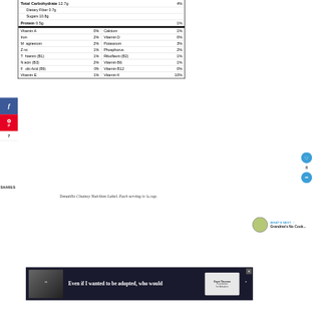| Total Carbohydrate 12.7g | 4% |
| Dietary Fiber 0.7g |  |
| Sugars 10.8g |  |
| Protein 0.5g | 1% |
| Vitamin A | 0% | Calcium | 1% |
| Iron | 2% | Vitamin D | 0% |
| Magnesium | 2% | Potassium | 3% |
| Zinc | 1% | Phosphorus | 2% |
| Thiamin (B1) | 1% | Riboflavin (B2) | 1% |
| Niacin (B3) | 2% | Vitamin B6 | 1% |
| Folic Acid (B9) | 0% | Vitamin B12 | 0% |
| Vitamin E | 1% | Vitamin K | 10% |
Tomatillo Chutney Nutrition Label. Each serving is ¼ cup.
SHARES
8
WHAT'S NEXT → Grandma's No Cook...